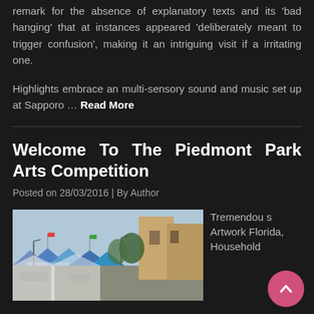remark for the absence of explanatory texts and its 'bad hanging' that at instances appeared 'deliberately meant to trigger confusion', making it an intriguing visit if a irritating one.
Highlights embrace an multi-sensory sound and music set up at Sapporo … Read More
Welcome To The Piedmont Park Arts Competition
Posted on 28/03/2016 | By Author
[Figure (photo): Outdoor arts festival street scene with tents and buildings in background]
Tremendous Artwork Florida, Household